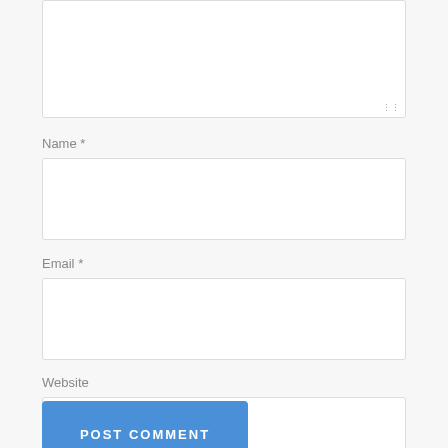[Figure (screenshot): Textarea input box (comment field, partially visible at top)]
Name *
[Figure (screenshot): Name text input field]
Email *
[Figure (screenshot): Email text input field]
Website
[Figure (screenshot): Website text input field]
[Figure (screenshot): Post Comment submit button]